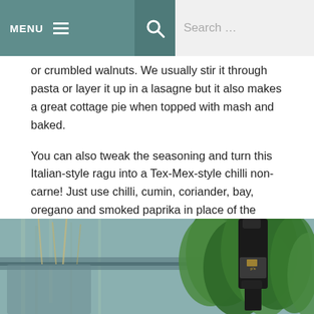MENU  Search …
or crumbled walnuts. We usually stir it through pasta or layer it up in a lasagne but it also makes a great cottage pie when topped with mash and baked.
You can also tweak the seasoning and turn this Italian-style ragu into a Tex-Mex-style chilli non-carne! Just use chilli, cumin, coriander, bay, oregano and smoked paprika in place of the herbs, and add a drained tin of kidney beans and peppers to the mix too. This adaptable lentil ragu recipe is just thing to add to your repertoire for hearty family meals.
Liz x
[Figure (photo): Photo of fresh herbs and an olive oil bottle on a kitchen counter with a blurred background of plants]